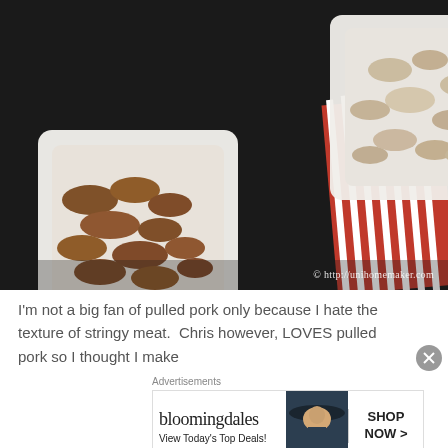[Figure (photo): Overhead photo of two white square bowls on a dark wooden surface. Left bowl contains dark sauced pulled pork pieces. Right bowl contains lighter colored plain cooked chicken/pork chunks. A red and white striped kitchen towel is visible in the background. Watermark reads: © http://unihomemaker.com]
I'm not a big fan of pulled pork only because I hate the texture of stringy meat.  Chris however, LOVES pulled pork so I thought I make
[Figure (other): Bloomingdale's advertisement banner. Logo text 'bloomingdales' with tagline 'View Today's Top Deals!' and a woman in a wide-brim hat photo. Button reads 'SHOP NOW >']